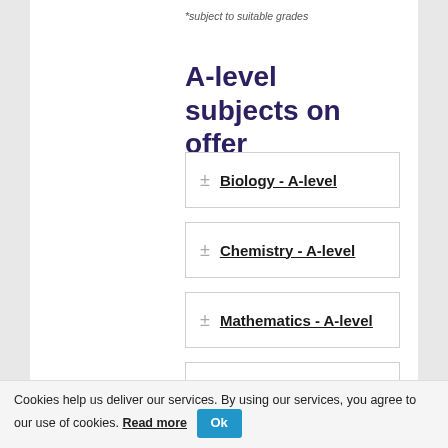*subject to suitable grades
A-level subjects on offer
Biology - A-level
Chemistry - A-level
Mathematics - A-level
Physics - A-level
Product Design - A-level
Cookies help us deliver our services. By using our services, you agree to our use of cookies. Read more Ok